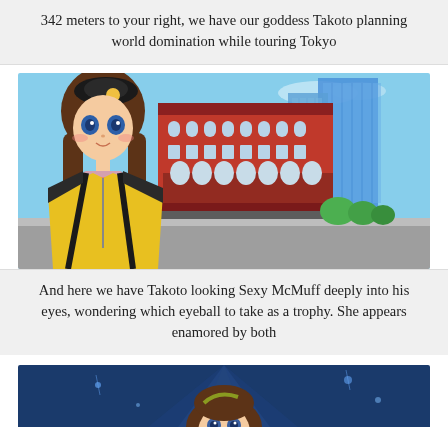342 meters to your right, we have our goddess Takoto planning world domination while touring Tokyo
[Figure (illustration): Anime character Takoto in yellow and black outfit with brown hair, standing in front of a Tokyo Station-like red brick building with blue skyscrapers and sky in the background]
And here we have Takoto looking Sexy McMuff deeply into his eyes, wondering which eyeball to take as a trophy. She appears enamored by both
[Figure (illustration): Partial view of an anime character with brown hair against a blue background, cropped at the bottom of the page]